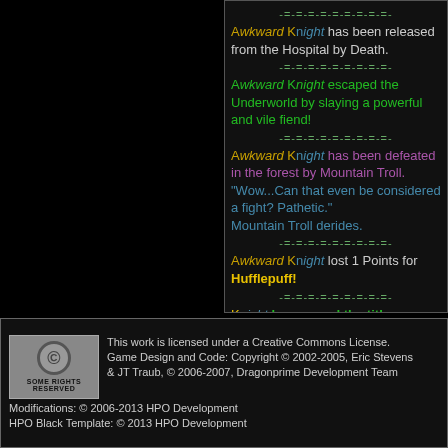Awkward Knight has been released from the Hospital by Death.
Awkward Knight escaped the Underworld by slaying a powerful and vile fiend!
Awkward Knight has been defeated in the forest by Mountain Troll. "Wow...Can that even be considered a fight? Pathetic." Mountain Troll derides.
Awkward Knight lost 1 Points for Hufflepuff!
Knight has earned the title Astronomer for having defeated Voldemort 22 times!
This work is licensed under a Creative Commons License. Game Design and Code: Copyright © 2002-2005, Eric Stevens & JT Traub, © 2006-2007, Dragonprime Development Team Modifications: © 2006-2013 HPO Development HPO Black Template: © 2013 HPO Development